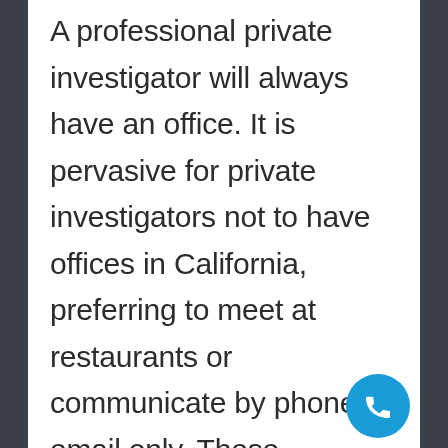A professional private investigator will always have an office. It is pervasive for private investigators not to have offices in California, preferring to meet at restaurants or communicate by phone or email only. These investigators should be eliminated from consideration as you need to know you'll be able to locate them...